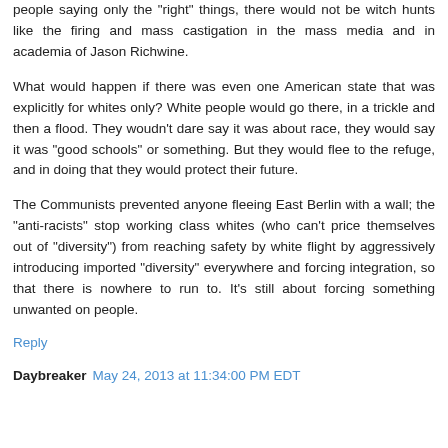people saying only the "right" things, there would not be witch hunts like the firing and mass castigation in the mass media and in academia of Jason Richwine.
What would happen if there was even one American state that was explicitly for whites only? White people would go there, in a trickle and then a flood. They woudn't dare say it was about race, they would say it was "good schools" or something. But they would flee to the refuge, and in doing that they would protect their future.
The Communists prevented anyone fleeing East Berlin with a wall; the "anti-racists" stop working class whites (who can't price themselves out of "diversity") from reaching safety by white flight by aggressively introducing imported "diversity" everywhere and forcing integration, so that there is nowhere to run to. It's still about forcing something unwanted on people.
Reply
Daybreaker May 24, 2013 at 11:34:00 PM EDT